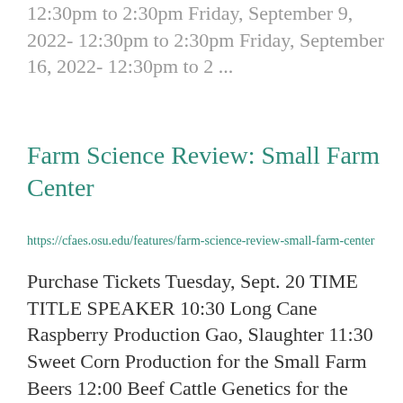12:30pm to 2:30pm Friday, September 9, 2022- 12:30pm to 2:30pm Friday, September 16, 2022- 12:30pm to 2 ...
Farm Science Review: Small Farm Center
https://cfaes.osu.edu/features/farm-science-review-small-farm-center
Purchase Tickets Tuesday, Sept. 20 TIME TITLE SPEAKER 10:30 Long Cane Raspberry Production Gao, Slaughter 11:30 Sweet Corn Production for the Small Farm Beers 12:00 Beef Cattle Genetics for the Small Farm Ruff 1:00 Do's and Don'ts of Livestock Fencing Wis ...